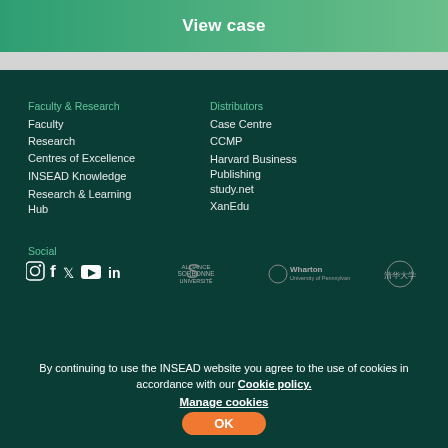View case
Faculty & Research
Faculty
Research
Centres of Excellence
INSEAD Knowledge
Research & Learning Hub
Distributors
Case Centre
CCMP
Harvard Business Publishing
study.net
XanEdu
Social
[Figure (logo): Social media icons: Instagram, Facebook, Twitter, YouTube, LinkedIn]
[Figure (logo): Alliance Sorbonne Université logo]
[Figure (logo): Wharton University of Pennsylvania logo]
[Figure (logo): Tsinghua University logo]
By continuing to use the INSEAD website you agree to the use of cookies in accordance with our Cookie policy.
Manage cookies
OK